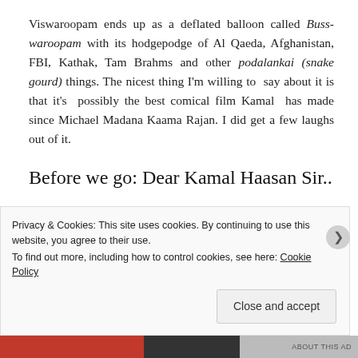Viswaroopam ends up as a deflated balloon called Buss-waroopam with its hodgepodge of Al Qaeda, Afghanistan, FBI, Kathak, Tam Brahms and other podalankai (snake gourd) things. The nicest thing I'm willing to say about it is that it's possibly the best comical film Kamal has made since Michael Madana Kaama Rajan. I did get a few laughs out of it.
Before we go: Dear Kamal Haasan Sir..
Dear Kamal sir, you're a great actor. But you're not a good director. Please stop directing films. And you're a great actor only when you work with good directors. So work with only the good ones. As for me, I'm going to watch Nayagan yet again for
Privacy & Cookies: This site uses cookies. By continuing to use this website, you agree to their use.
To find out more, including how to control cookies, see here: Cookie Policy
Close and accept